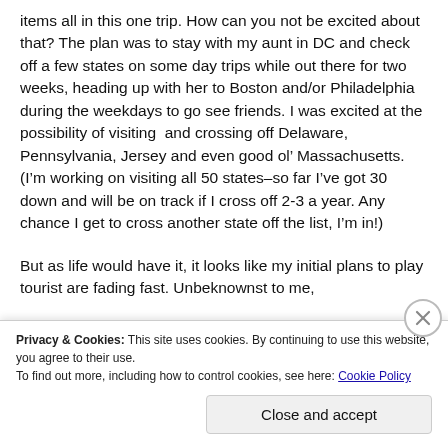items all in this one trip. How can you not be excited about that? The plan was to stay with my aunt in DC and check off a few states on some day trips while out there for two weeks, heading up with her to Boston and/or Philadelphia during the weekdays to go see friends. I was excited at the possibility of visiting  and crossing off Delaware, Pennsylvania, Jersey and even good ol’ Massachusetts.  (I’m working on visiting all 50 states–so far I’ve got 30 down and will be on track if I cross off 2-3 a year. Any chance I get to cross another state off the list, I’m in!)
But as life would have it, it looks like my initial plans to play tourist are fading fast. Unbeknownst to me,
Privacy & Cookies: This site uses cookies. By continuing to use this website, you agree to their use.
To find out more, including how to control cookies, see here: Cookie Policy